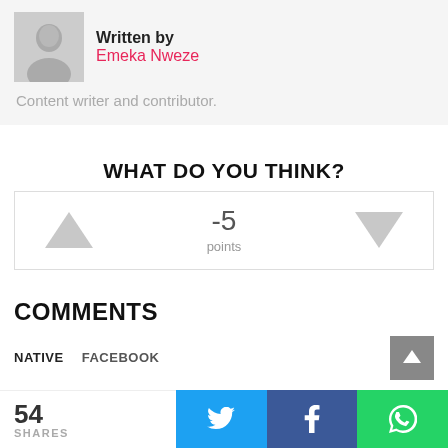[Figure (photo): Author avatar photo of Emeka Nweze, a grayscale portrait photo]
Written by
Emeka Nweze
Content writer and contributor.
WHAT DO YOU THINK?
-5
points
COMMENTS
NATIVE   FACEBOOK
54
SHARES